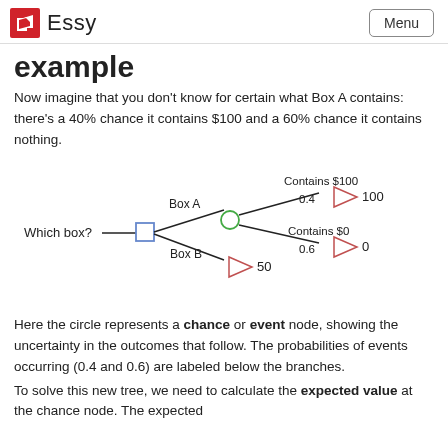Essy  Menu
example
Now imagine that you don't know for certain what Box A contains: there's a 40% chance it contains $100 and a 60% chance it contains nothing.
[Figure (flowchart): Decision tree diagram showing 'Which box?' decision node (square) branching to Box A (chance node, circle) and Box B. Box A branches to 'Contains $100' (0.4, value 100) and 'Contains $0' (0.6, value 0). Box B leads to triangle with value 50.]
Here the circle represents a chance or event node, showing the uncertainty in the outcomes that follow. The probabilities of events occurring (0.4 and 0.6) are labeled below the branches.
To solve this new tree, we need to calculate the expected value at the chance node. The expected